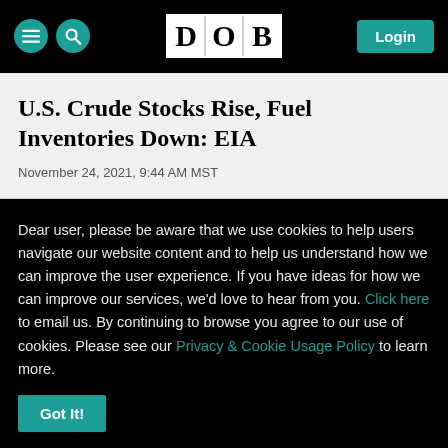DOB | Login
U.S. Crude Stocks Rise, Fuel Inventories Down: EIA
November 24, 2021, 9:44 AM MST
Dear user, please be aware that we use cookies to help users navigate our website content and to help us understand how we can improve the user experience. If you have ideas for how we can improve our services, we'd love to hear from you. Click here to email us. By continuing to browse you agree to our use of cookies. Please see our Privacy & Cookie Usage Policy to learn more.
Got It!